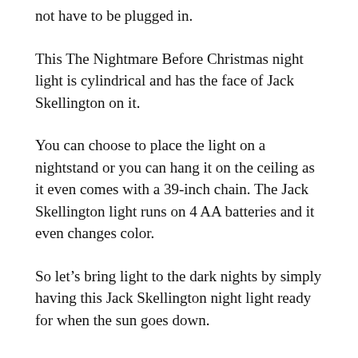not have to be plugged in.
This The Nightmare Before Christmas night light is cylindrical and has the face of Jack Skellington on it.
You can choose to place the light on a nightstand or you can hang it on the ceiling as it even comes with a 39-inch chain. The Jack Skellington light runs on 4 AA batteries and it even changes color.
So let’s bring light to the dark nights by simply having this Jack Skellington night light ready for when the sun goes down.
Read More About The Jack Skellington Cylindrical Night Light